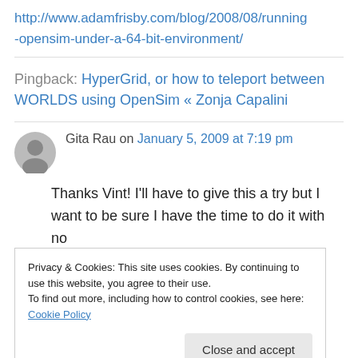http://www.adamfrisby.com/blog/2008/08/running-opensim-under-a-64-bit-environment/
Pingback: HyperGrid, or how to teleport between WORLDS using OpenSim « Zonja Capalini
Gita Rau on January 5, 2009 at 7:19 pm
Thanks Vint! I'll have to give this a try but I want to be sure I have the time to do it with no
Privacy & Cookies: This site uses cookies. By continuing to use this website, you agree to their use.
To find out more, including how to control cookies, see here: Cookie Policy
Close and accept
Zonja,